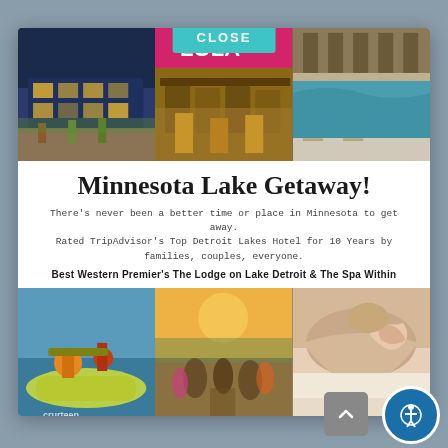[Figure (photo): Modal popup showing Minnesota Lake Getaway advertisement with six photos of hotel exterior, restaurant/bar, indoor pool, kayaking, outdoor gathering, and spa massage, along with title text and description]
Minnesota Lake Getaway!
There's never been a better time or place in Minnesota to get away. Rated TripAdvisor's Top Detroit Lakes Hotel for 10 Years by families, couples, everyone.
Best Western Premier's The Lodge on Lake Detroit & The Spa Within